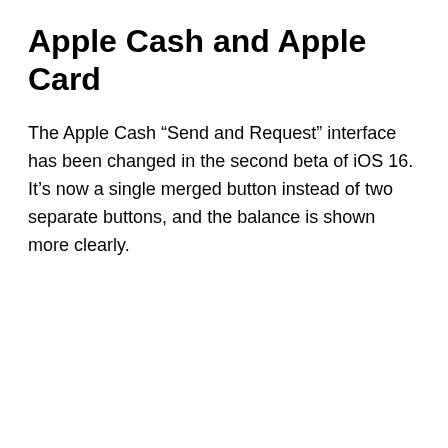Apple Cash and Apple Card
The Apple Cash “Send and Request” interface has been changed in the second beta of iOS 16. It’s now a single merged button instead of two separate buttons, and the balance is shown more clearly.